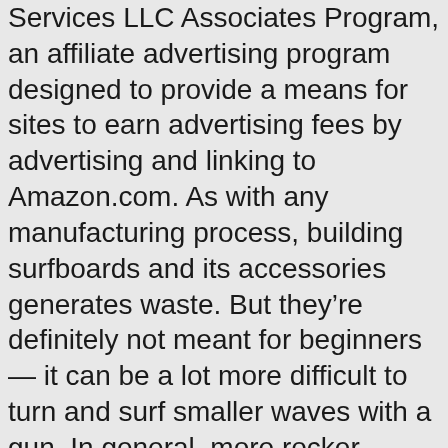Services LLC Associates Program, an affiliate advertising program designed to provide a means for sites to earn advertising fees by advertising and linking to Amazon.com. As with any manufacturing process, building surfboards and its accessories generates waste. But they're definitely not meant for beginners — it can be a lot more difficult to turn and surf smaller waves with a gun. In general, more rocker means a slower board. They also have their outsourced production line in Cobra, Thailand. They have grown from local grass-roots operations to a progressive organization, continuously catering to surfers regardless of their level of experience. We exclusively carry boards that have been ridden by some of your favorite pro surfers. Volume is measured in liters, with an ideal measurement being about 60 liters or more. Their hybrid soft top surfboards are the go-to boards for advanced riders in smaller waves. Our In-Depth Review: Haydenshapes Surfboards. The rounded